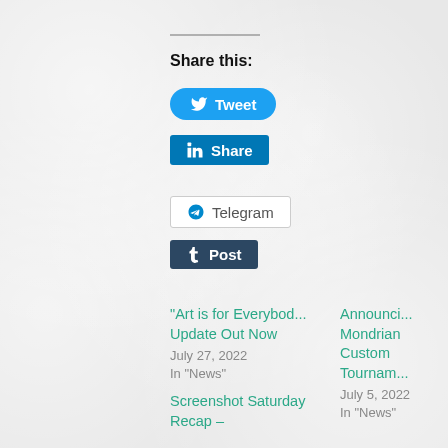Share this:
[Figure (other): Tweet button (Twitter/X) - blue rounded pill button with bird icon]
[Figure (other): LinkedIn Share button - blue rectangle with LinkedIn logo]
[Figure (other): Telegram button - white rounded button with Telegram logo]
[Figure (other): Tumblr Post button - dark navy button with Tumblr t icon]
“Art is for Everybod... Update Out Now
July 27, 2022
In “News”
Announci... Mondrian Custom Tournam...
July 5, 2022
In “News”
Screenshot Saturday Recap –